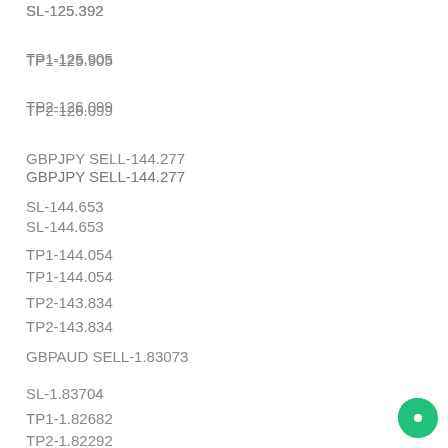SL-125.392
TP1-125.905
TP2-126.099
GBPJPY SELL-144.277
SL-144.653
TP1-144.054
TP2-143.834
GBPAUD SELL-1.83073
SL-1.83704
TP1-1.82682
TP2-1.82292